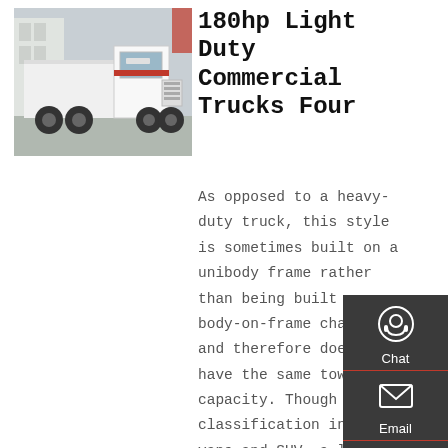[Figure (photo): White heavy-duty truck (tractor unit) parked in a lot, with red markings on the cab, photographed from a slight angle showing front and side.]
180hp Light Duty Commercial Trucks Four
As opposed to a heavy-duty truck, this style is sometimes built on a unibody frame rather than being built on a body-on-frame chassis, and therefore does not have the same towing capacity. Though this classification includes vans and SUV, a light truck is typically a
[Figure (infographic): Dark sidebar widget with Chat, Email, Contact, and Top navigation icons overlaid on the right side of the page.]